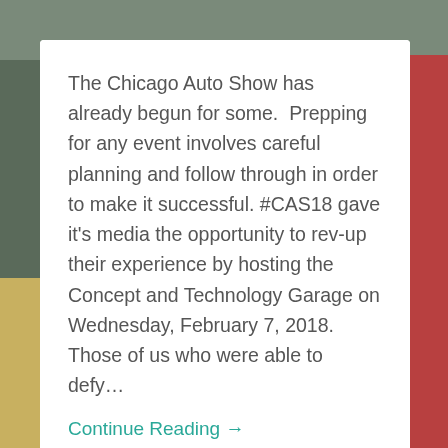[Figure (photo): Background collage of vintage gas station signs and memorabilia; top portion shows a blurred overhead view, bottom portion shows illuminated vintage brand signs including APCO, Shell, Premium and others in a garage-style display.]
The Chicago Auto Show has already begun for some.  Prepping for any event involves careful planning and follow through in order to make it successful. #CAS18 gave it's media the opportunity to rev-up their experience by hosting the Concept and Technology Garage on Wednesday, February 7, 2018.  Those of us who were able to defy…
Continue Reading →
February 12, 2018   0